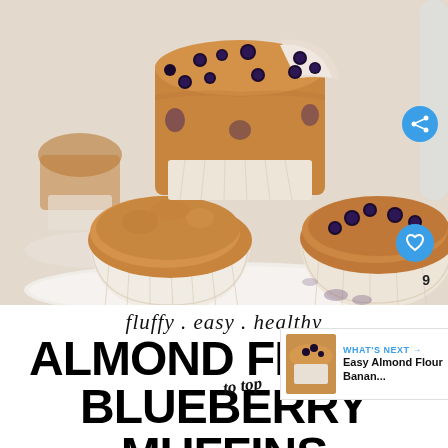[Figure (photo): Stack of blueberry muffins in paper cups on a white plate. The top muffin has a bite taken out showing blueberries inside. A second muffin in a paper cup is visible in the background on another plate. The muffins are golden-brown with visible blueberries.]
fluffy . easy . healthy
ALMOND FLOUR
BLUEBERRY MUFFINS
WHAT'S NEXT → Easy Almond Flour Banan...